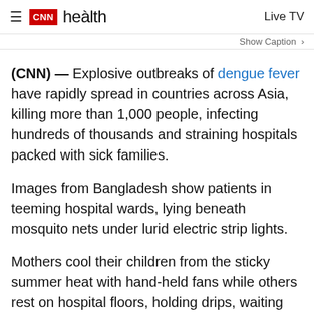CNN health — Live TV
Show Caption
(CNN) — Explosive outbreaks of dengue fever have rapidly spread in countries across Asia, killing more than 1,000 people, infecting hundreds of thousands and straining hospitals packed with sick families.
Images from Bangladesh show patients in teeming hospital wards, lying beneath mosquito nets under lurid electric strip lights.
Mothers cool their children from the sticky summer heat with hand-held fans while others rest on hospital floors, holding drips, waiting for a free bed.